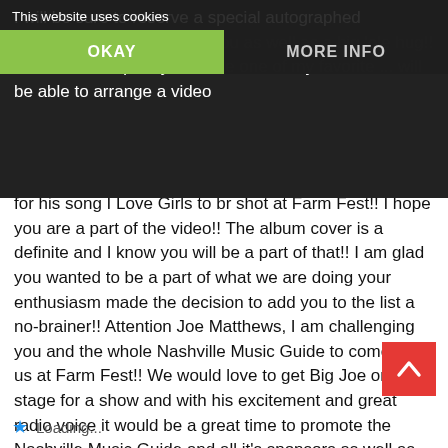I will be sure to reserve a special autographed Nashville Music Guide for you as well as a big 'ole hug!! I can't wait to quickly become one of my favorite ... will be able to arrange a video
This website uses cookies
OKAY
MORE INFO
for his song I Love Girls to br shot at Farm Fest!! I hope you are a part of the video!! The album cover is a definite and I know you will be a part of that!! I am glad you wanted to be a part of what we are doing your enthusiasm made the decision to add you to the list a no-brainer!! Attention Joe Matthews, I am challenging you and the whole Nashville Music Guide to come join us at Farm Fest!! We would love to get Big Joe on stage for a show and with his excitement and great radio voice it would be a great time to promote the Nashville Music Guide and all it's sponsors as well as Big Joe's Big Night Out & Big Joe's Big Radio show on nixacountry.com!! Be there-I double dawg dare you!! Miss Bev, thanks again, I love you sweetheart!! Pens up and I'll see you at the top of the charts!!
Loading...